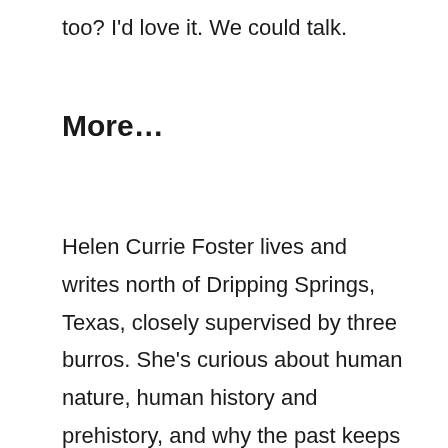too? I'd love it. We could talk.
More…
Helen Currie Foster lives and writes north of Dripping Springs, Texas, closely supervised by three burros. She's curious about human nature, human history and prehistory, and why the past keeps crashing the party. She's currently finishing book 8 in the Alice MacDonald